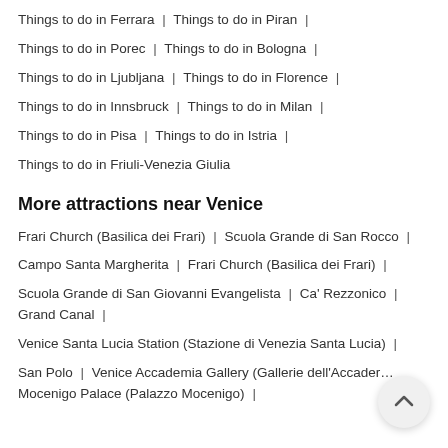Things to do in Ferrara | Things to do in Piran |
Things to do in Porec | Things to do in Bologna |
Things to do in Ljubljana | Things to do in Florence |
Things to do in Innsbruck | Things to do in Milan |
Things to do in Pisa | Things to do in Istria |
Things to do in Friuli-Venezia Giulia
More attractions near Venice
Frari Church (Basilica dei Frari) | Scuola Grande di San Rocco |
Campo Santa Margherita | Frari Church (Basilica dei Frari) |
Scuola Grande di San Giovanni Evangelista | Ca' Rezzonico | Grand Canal |
Venice Santa Lucia Station (Stazione di Venezia Santa Lucia) |
San Polo | Venice Accademia Gallery (Gallerie dell'Accademia) | Mocenigo Palace (Palazzo Mocenigo) |